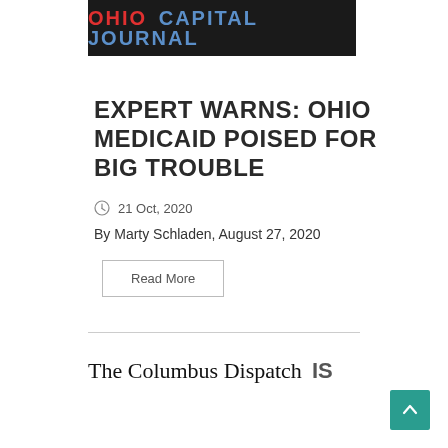[Figure (logo): Ohio Capital Journal logo — dark banner with 'OHIO' in red and 'CAPITAL JOURNAL' in blue]
EXPERT WARNS: OHIO MEDICAID POISED FOR BIG TROUBLE
21 Oct, 2020
By Marty Schladen, August 27, 2020
Read More
[Figure (logo): The Columbus Dispatch newspaper logo in serif blackletter font, followed by 'IS' in bold sans-serif]